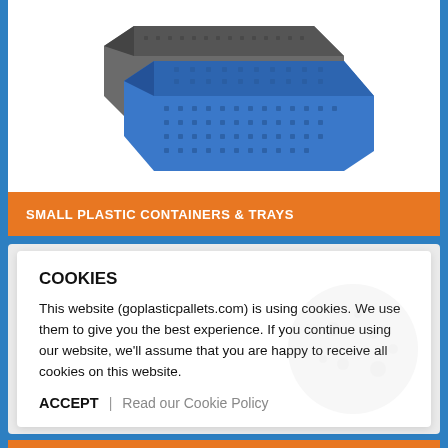[Figure (photo): Blue and grey perforated plastic stacking containers/trays shown in perspective view against white background]
SMALL PLASTIC CONTAINERS & TRAYS
COOKIES
This website (goplasticpallets.com) is using cookies. We use them to give you the best experience. If you continue using our website, we'll assume that you are happy to receive all cookies on this website.
ACCEPT   |   Read our Cookie Policy